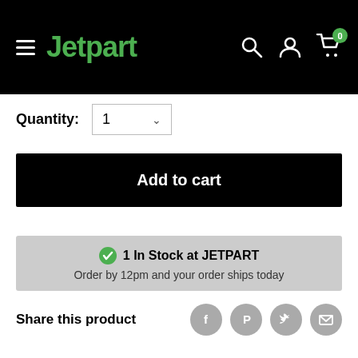Jetpart
Quantity: 1
Add to cart
1 In Stock at JETPART
Order by 12pm and your order ships today
Share this product